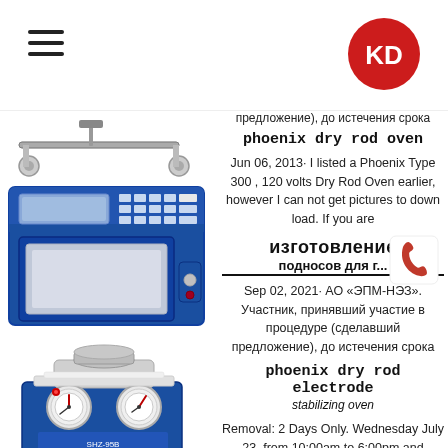Navigation menu and KD logo
[Figure (photo): Rod/rail equipment photo at top left]
[Figure (photo): Phoenix dry rod oven - blue microwave-style cabinet]
[Figure (photo): Blue suction pump/vacuum device with gauges]
[Figure (photo): Small blue cabinet/refrigerator device]
предложение), до истечения срока
phoenix dry rod oven
Jun 06, 2013· I listed a Phoenix Type 300 , 120 volts Dry Rod Oven earlier, however I can not get pictures to down load. If you are
изготовление подносов для г...
Sep 02, 2021· АО «ЭПМ-НЭЗ». Участник, принявший участие в процедуре (сделавший предложение), до истечения срока
phoenix dry rod electrode stabilizing oven
Removal: 2 Days Only. Wednesday July 23, from 10:00am to 6:00pm and Thursday